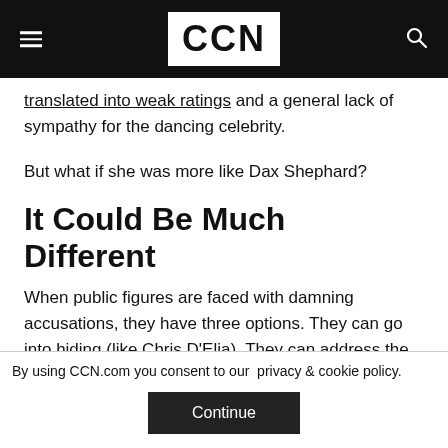CCN
translated into weak ratings and a general lack of sympathy for the dancing celebrity.
But what if she was more like Dax Shephard?
It Could Be Much Different
When public figures are faced with damning accusations, they have three options. They can go into hiding (like Chris D'Elia). They can address the issue (like Dan Harmon). Or they try to remain in
By using CCN.com you consent to our  privacy & cookie policy.
Continue